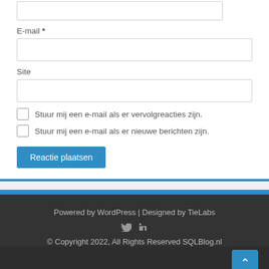E-mail *
Site
Stuur mij een e-mail als er vervolgreacties zijn.
Stuur mij een e-mail als er nieuwe berichten zijn.
Reactie plaatsen
Powered by WordPress | Designed by TieLabs
© Copyright 2022, All Rights Reserved SQLBlog.nl